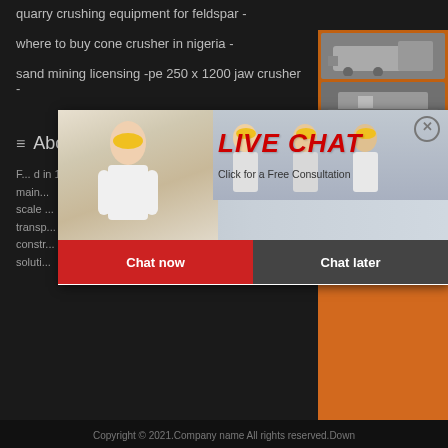quarry crushing equipment for feldspar -
where to buy cone crusher in nigeria -
sand mining licensing -pe 250 x 1200 jaw crusher -
About us
Founded in 1987, Liming Group Ore Crushing Company is mainly engaged in manufacturing large and medium-scale crushing, sand making, grinding, transportation, and construction materials solution.
[Figure (photo): Live chat popup with woman in white shirt and yellow helmet, group of workers behind, LIVE CHAT heading in red italic, Click for a Free Consultation subtitle, Chat now red button and Chat later dark button]
[Figure (photo): Orange sidebar with mining/crushing machinery images, Enjoy 3% discount text, Click to Chat yellow button, Enquiry link, limingjlmofen@sina.com email]
Copyright © 2021.Company name All rights reserved.Down